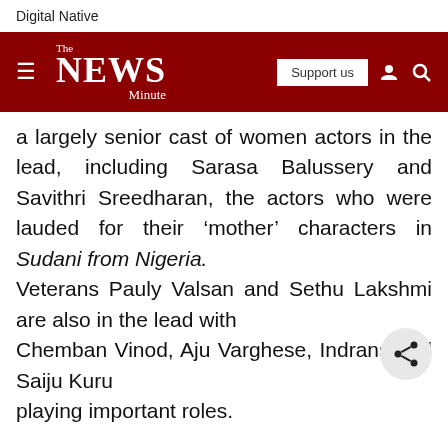Digital Native
[Figure (logo): The News Minute website navigation bar with hamburger menu, logo, Support us button, user icon, and search icon on a dark red background]
a largely senior cast of women actors in the lead, including Sarasa Balussery and Savithri Sreedharan, the actors who were lauded for their ‘mother’ characters in Sudani from Nigeria. Veterans Pauly Valsan and Sethu Lakshmi are also in the lead with Chemban Vinod, Aju Varghese, Indrans and Saiju Kuru playing important roles.